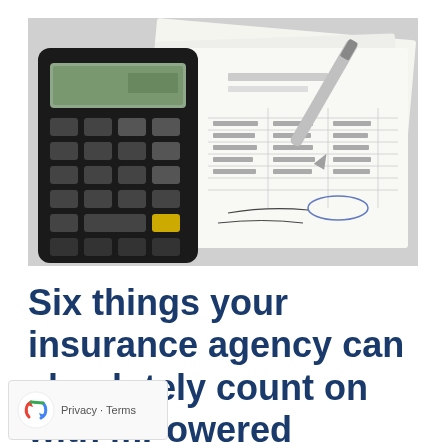[Figure (photo): Photo of a black scientific calculator placed on financial documents with printed numbers and tables, with a silver pen resting on the papers.]
Six things your insurance agency can absolutely count on with mPowered
[Figure (logo): Google reCAPTCHA widget showing the recycling-arrow logo icon with text 'Privacy - Terms' below.]